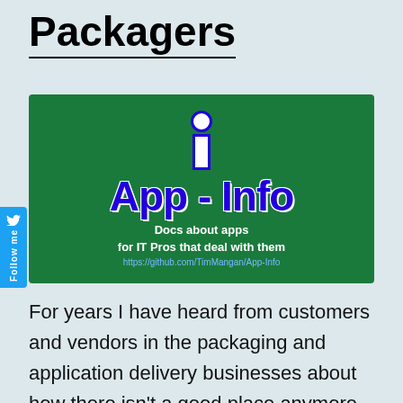Packagers
[Figure (logo): App-Info logo on green background with blue 'App - Info' text, white 'i' icon, tagline 'Docs about apps for IT Pros that deal with them', and GitHub URL https://github.com/TimMangan/App-Info]
For years I have heard from customers and vendors in the packaging and application delivery businesses about how there isn’t a good place anymore to find information on